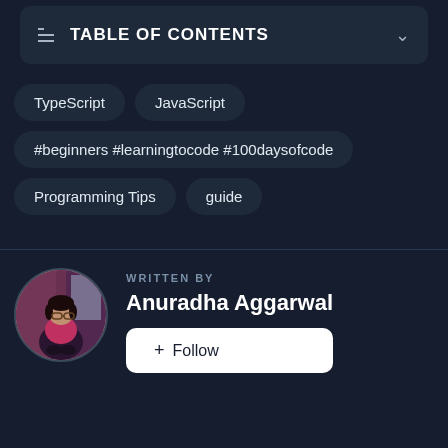TABLE OF CONTENTS
TypeScript
JavaScript
#beginners #learningtocode #100daysofcode
Programming Tips
guide
WRITTEN BY
Anuradha Aggarwal
+ Follow